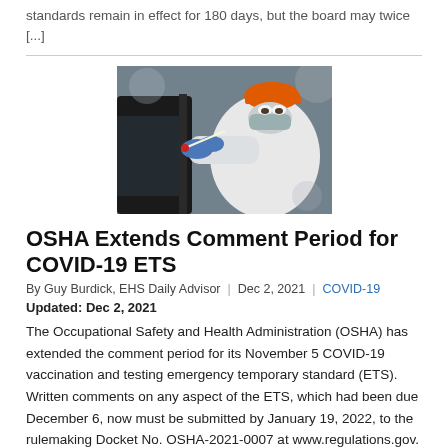standards remain in effect for 180 days, but the board may twice [...]
[Figure (photo): Healthcare worker in PPE (white protective suit, blue gloves, face mask, orange hard hat) administering a COVID-19 nasal swab test to a person in a vehicle at a drive-through testing site.]
OSHA Extends Comment Period for COVID-19 ETS
By Guy Burdick, EHS Daily Advisor | Dec 2, 2021 | COVID-19
Updated: Dec 2, 2021
The Occupational Safety and Health Administration (OSHA) has extended the comment period for its November 5 COVID-19 vaccination and testing emergency temporary standard (ETS). Written comments on any aspect of the ETS, which had been due December 6, now must be submitted by January 19, 2022, to the rulemaking Docket No. OSHA-2021-0007 at www.regulations.gov.